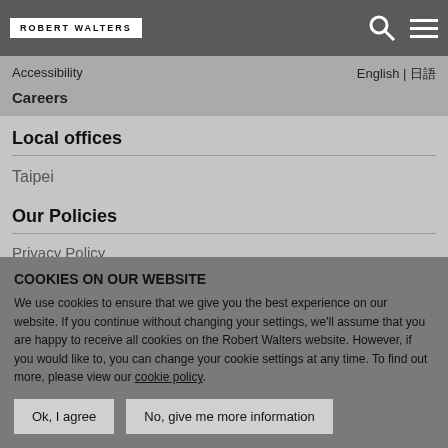Feedback
[Figure (logo): Robert Walters logo — white text on white background boxes]
Accessibility
Careers
English | 日本語
Local offices
Taipei
Our Policies
Privacy Policy
Cookies Policy
COOKIES ON OUR WEBSITE
We use cookies to ensure that we give you the best experience on our website. If you continue without changing your settings, we'll assume that you are happy to receive all cookies on the Robert Walters website. However, if you would like to, you can change your cookie settings at any time. To find out more, please view our cookie policy.
Ok, I agree
No, give me more information